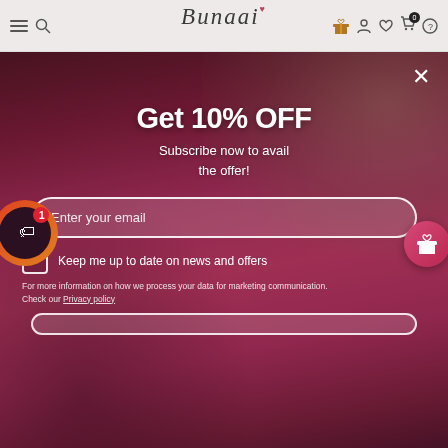Bunaai — navigation header with menu, search, gift, account, wishlist, cart (0), help icons
[Figure (screenshot): Bunaai fashion e-commerce website screenshot showing a modal popup over an image of a woman in a pink/red embroidered lehenga/saree. The modal offers 10% OFF discount for subscribing via email.]
Get 10% OFF
Subscribe now to avail the offer!
Enter your email
Keep me up to date on news and offers
For more information on how we process your data for marketing communication. Check our Privacy policy